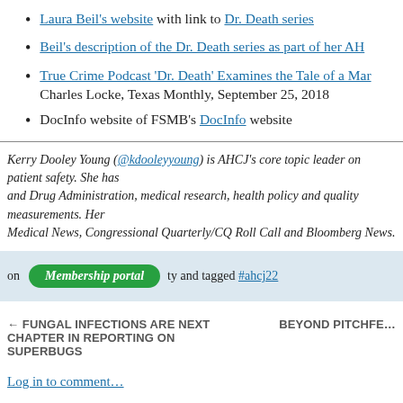Laura Beil's website with link to Dr. Death series
Beil's description of the Dr. Death series as part of her AH
True Crime Podcast 'Dr. Death' Examines the Tale of a Mar... Charles Locke, Texas Monthly, September 25, 2018
DocInfo website of FSMB's DocInfo website
Kerry Dooley Young (@kdooleyyoung) is AHCJ's core topic leader on patient safety. She has... and Drug Administration, medical research, health policy and quality measurements. He... Medical News, Congressional Quarterly/CQ Roll Call and Bloomberg News.
on... and tagged #ahcj22...
← FUNGAL INFECTIONS ARE NEXT CHAPTER IN REPORTING ON SUPERBUGS
BEYOND PITCHFE...
Log in to comment...